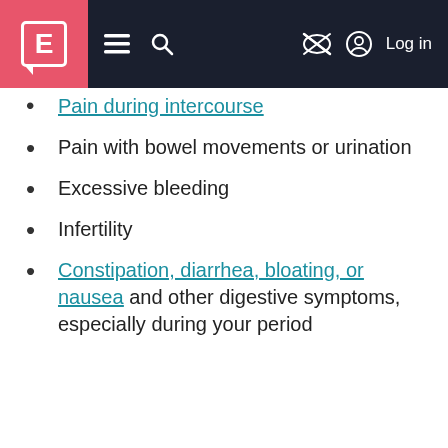E [logo] ≡ 🔍 [nav icons] Log in
Pain during intercourse
Pain with bowel movements or urination
Excessive bleeding
Infertility
Constipation, diarrhea, bloating, or nausea and other digestive symptoms, especially during your period